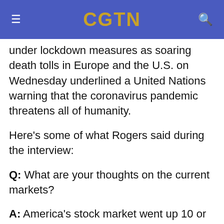CGTN
under lockdown measures as soaring death tolls in Europe and the U.S. on Wednesday underlined a United Nations warning that the coronavirus pandemic threatens all of humanity.
Here's some of what Rogers said during the interview:
Q: What are your thoughts on the current markets?
A: America's stock market went up 10 or 12 years, the longest in American history without a bear market. In the last three months before February, the market went almost straight up. And then suddenly